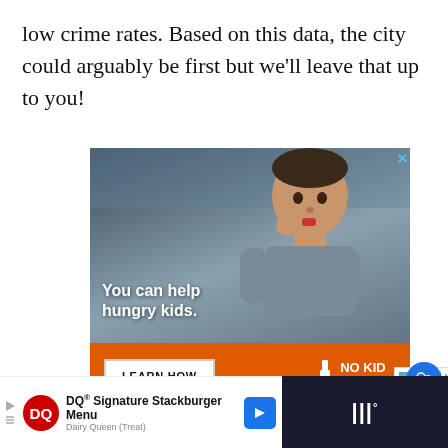low crime rates. Based on this data, the city could arguably be first but we'll leave that up to you!
[Figure (photo): Advertisement for No Kid Hungry showing a young boy eating, with overlay text 'You can help hungry kids.' and a 'LEARN HOW' button with No Kid Hungry logo on an orange bar.]
[Figure (photo): Bottom advertisement bar showing Dairy Queen (DQ) logo with text 'DQ® Signature Stackburger Menu' and a weather widget on a dark background.]